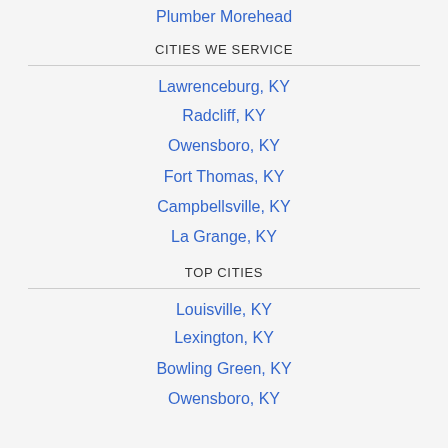Plumber Morehead
CITIES WE SERVICE
Lawrenceburg, KY
Radcliff, KY
Owensboro, KY
Fort Thomas, KY
Campbellsville, KY
La Grange, KY
TOP CITIES
Louisville, KY
Lexington, KY
Bowling Green, KY
Owensboro, KY